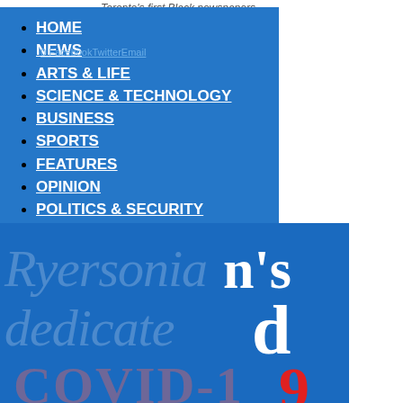Toronto's first Black newspapers.
0 FacebookTwitterEmail
HOME
NEWS
ARTS & LIFE
SCIENCE & TECHNOLOGY
BUSINESS
SPORTS
FEATURES
OPINION
POLITICS & SECURITY
Ryersonian's dedicated
COVID-19